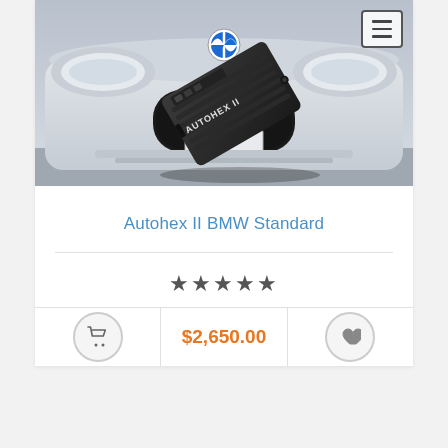[Figure (photo): Product photo of Autohex II BMW diagnostic device, a black rectangular device labeled AUTOHEX II, placed in front of a BMW car grille with BMW logo visible. A hamburger menu icon is in the top right corner of the image.]
Autohex II BMW Standard
★★★★★
$2,650.00